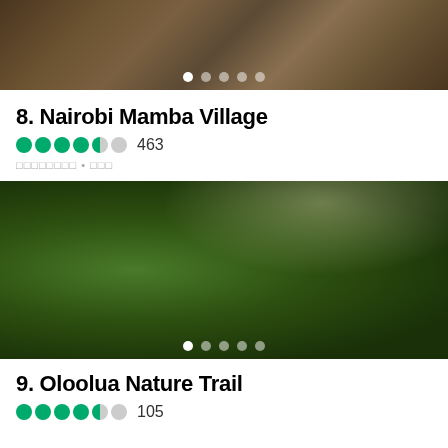[Figure (photo): Close-up photo of crocodile claws/feet on rocky ground]
8. Nairobi Mamba Village
Rating: 4.0/5 circles, 463 reviews
Category tags (non-latin script) • additional tag
[Figure (photo): Dense green forest/jungle nature trail with sunlight filtering through trees]
9. Oloolua Nature Trail
Rating: 4.5/5 circles, 105 reviews